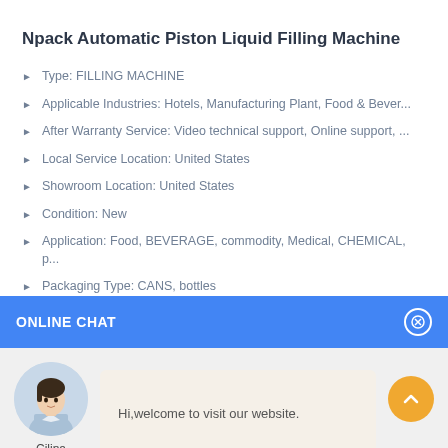Npack Automatic Piston Liquid Filling Machine
Type: FILLING MACHINE
Applicable Industries: Hotels, Manufacturing Plant, Food & Bever...
After Warranty Service: Video technical support, Online support, ...
Local Service Location: United States
Showroom Location: United States
Condition: New
Application: Food, BEVERAGE, commodity, Medical, CHEMICAL, p...
Packaging Type: CANS, bottles
ONLINE CHAT
Hi,welcome to visit our website.
Cilina